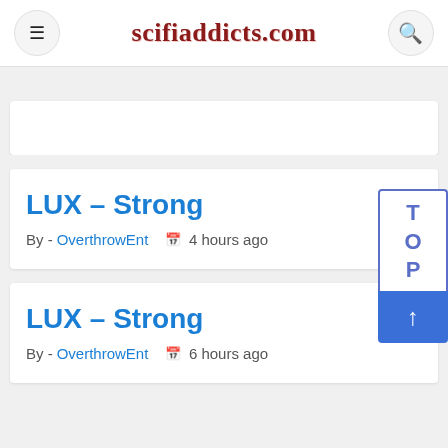scifiaddicts.com
[Figure (screenshot): Empty white ad banner card]
LUX – Strong
By - OverthrowEnt   4 hours ago
LUX – Strong
By - OverthrowEnt   6 hours ago